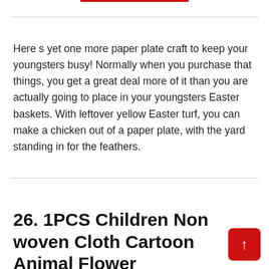Here s yet one more paper plate craft to keep your youngsters busy! Normally when you purchase that things, you get a great deal more of it than you are actually going to place in your youngsters Easter baskets. With leftover yellow Easter turf, you can make a chicken out of a paper plate, with the yard standing in for the feathers.
26. 1PCS Children Non woven Cloth Cartoon Animal Flower